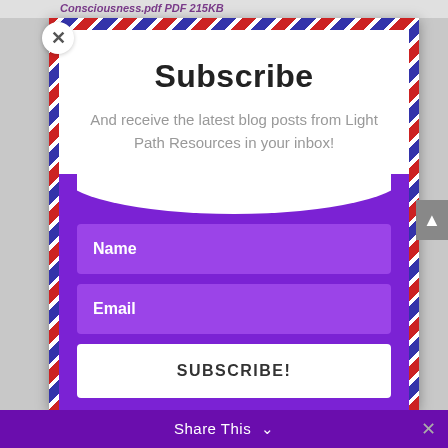Consciousness.pdf PDF 215KB
Subscribe
And receive the latest blog posts from Light Path Resources in your inbox!
Name
Email
SUBSCRIBE!
Share This